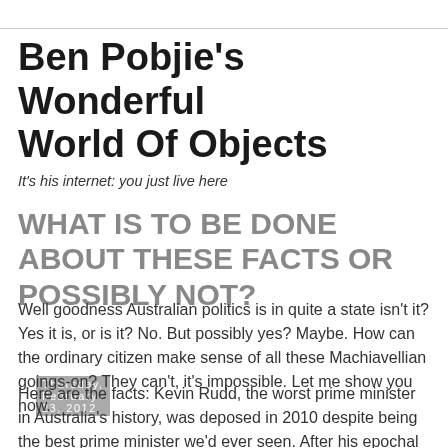Ben Pobjie's Wonderful World Of Objects
It's his internet: you just live here
Thursday, February 23, 2012
WHAT IS TO BE DONE ABOUT THESE FACTS OR POSSIBLY NOT?
Well goodness Australian politics is in quite a state isn't it? Yes it is, or is it? No. But possibly yes? Maybe. How can the ordinary citizen make sense of all these Machiavellian goings-on? They can't, it's impossible. Let me show you how.
Here are the facts: Kevin Rudd, the worst prime minister in Australia's history, was deposed in 2010 despite being the best prime minister we'd ever seen. After his epochal victory over John Howard, Rudd was the hero of the Labor Party